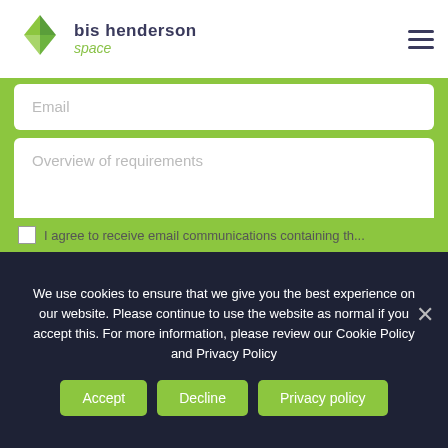bis henderson space
Email
Overview of requirements
I agree to receive email communications containing th...
We use cookies to ensure that we give you the best experience on our website. Please continue to use the website as normal if you accept this. For more information, please review our Cookie Policy and Privacy Policy
Accept
Decline
Privacy policy